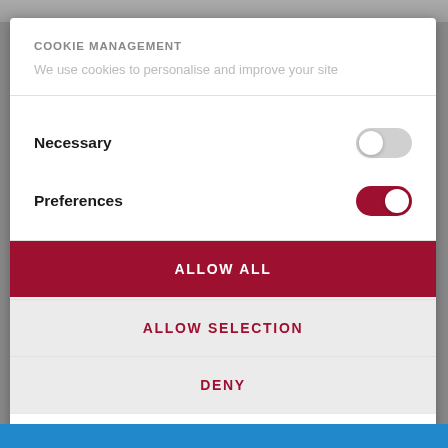COOKIE MANAGEMENT
We use cookies to personalise and improve your site
Necessary
Preferences
ALLOW ALL
ALLOW SELECTION
DENY
Powered by Cookiebot by Usercentrics